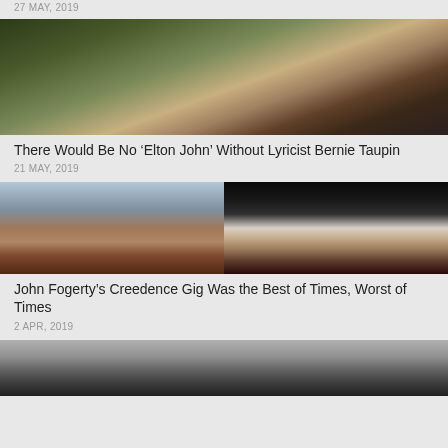27 MAY, 2019
[Figure (photo): Photo of Elton John and Bernie Taupin]
There Would Be No ‘Elton John’ Without Lyricist Bernie Taupin
21 MAY, 2019
[Figure (photo): Two-photo collage: John Fogerty at microphone (left) and Bob Dylan performing (right)]
John Fogerty’s Creedence Gig Was the Best of Times, Worst of Times
2 APR, 2019
[Figure (photo): Partially visible black and white photo at bottom of page]